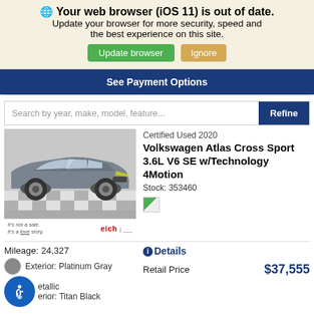Your web browser (iOS 11) is out of date. Update your browser for more security, speed and the best experience on this site. Update browser | Ignore
See Payment Options
Search by year, make, model, feature... Refine
[Figure (photo): Gray Volkswagen Atlas Cross Sport SUV on a checkered floor, with dealer branding 'It's not a sale. It's a love story. eich']
Certified Used 2020
Volkswagen Atlas Cross Sport 3.6L V6 SE w/Technology 4Motion
Stock: 353460
Mileage: 24,327
Exterior: Platinum Gray
etallic
erior: Titan Black
Details
Retail Price
$37,555